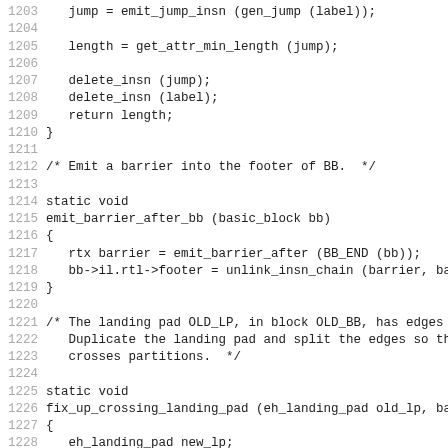Source code listing, lines 1203-1234
1203    jump = emit_jump_insn (gen_jump (label));
1204
1205    length = get_attr_min_length (jump);
1206
1207    delete_insn (jump);
1208    delete_insn (label);
1209    return length;
1210 }
1211
1212 /* Emit a barrier into the footer of BB.  */
1213
1214 static void
1215 emit_barrier_after_bb (basic_block bb)
1216 {
1217    rtx barrier = emit_barrier_after (BB_END (bb));
1218    bb->il.rtl->footer = unlink_insn_chain (barrier, barr
1219 }
1220
1221 /* The landing pad OLD_LP, in block OLD_BB, has edges f
1222    Duplicate the landing pad and split the edges so tha
1223    crosses partitions.  */
1224
1225 static void
1226 fix_up_crossing_landing_pad (eh_landing_pad old_lp, bas
1227 {
1228    eh_landing_pad new_lp;
1229    basic_block new_bb, last_bb, post_bb;
1230    rtx new_label, jump, post_label;
1231    unsigned new_partition;
1232    edge_iterator ei;
1233    edge e;
1234